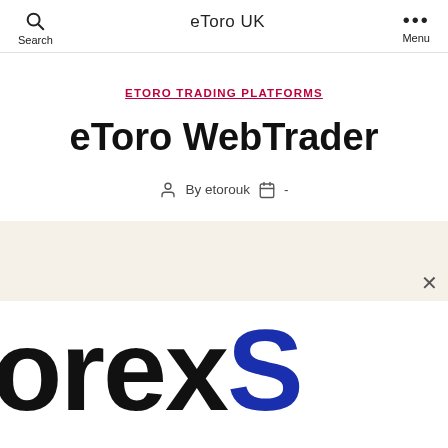eToro UK  Search  Menu
ETORO TRADING PLATFORMS
eToro WebTrader
By etorouk  -
[Figure (logo): Partial text showing 'orexS' in large black and blue bold font, resembling a logo banner cropped at the edges. A close (x) button appears in the upper right area.]